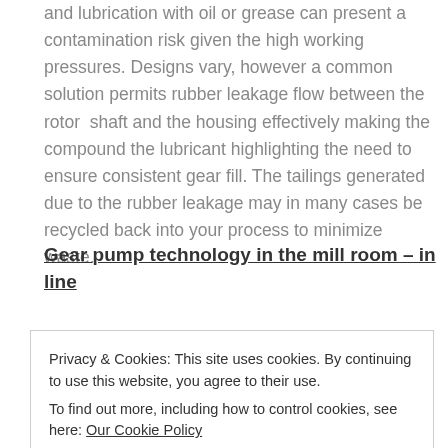and lubrication with oil or grease can present a contamination risk given the high working pressures. Designs vary, however a common solution permits rubber leakage flow between the rotor shaft and the housing effectively making the compound the lubricant highlighting the need to ensure consistent gear fill. The tailings generated due to the rubber leakage may in many cases be recycled back into your process to minimize waste.
Gear pump technology in the mill room – in line
Straining technology has advanced to the point where
Privacy & Cookies: This site uses cookies. By continuing to use this website, you agree to their use.
To find out more, including how to control cookies, see here: Our Cookie Policy
feed for your extrusion or downstream mixing operations